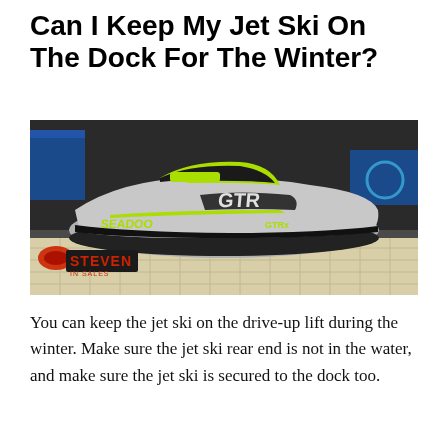Can I Keep My Jet Ski On The Dock For The Winter?
[Figure (photo): A Sea-Doo GTR-X jet ski in yellow-green and grey/black colors displayed on a white foam dock at an indoor show, with a Steven in Sales watermark logo in the bottom-left corner.]
You can keep the jet ski on the drive-up lift during the winter. Make sure the jet ski rear end is not in the water, and make sure the jet ski is secured to the dock too.